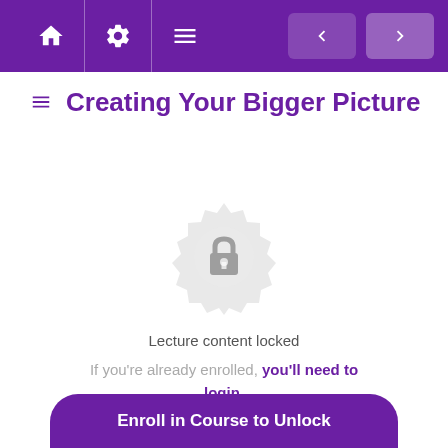[Figure (screenshot): Purple navigation bar with home icon, settings/gear icon, hamburger menu icon on left, and two arrow navigation buttons (back and forward) on right]
≡ Creating Your Bigger Picture
[Figure (illustration): Locked badge icon: a decorative circular badge/seal in light gray with a padlock icon in the center, indicating locked content]
Lecture content locked
If you're already enrolled, you'll need to login.
Enroll in Course to Unlock